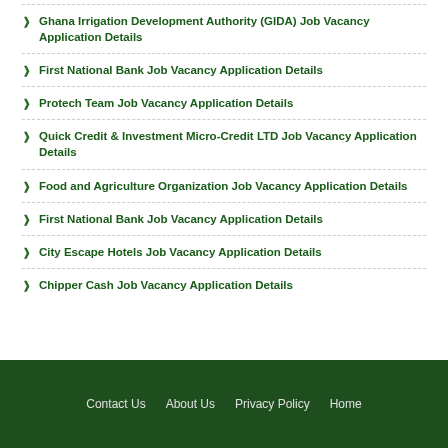Ghana Irrigation Development Authority (GIDA) Job Vacancy Application Details
First National Bank Job Vacancy Application Details
Protech Team Job Vacancy Application Details
Quick Credit & Investment Micro-Credit LTD Job Vacancy Application Details
Food and Agriculture Organization Job Vacancy Application Details
First National Bank Job Vacancy Application Details
City Escape Hotels Job Vacancy Application Details
Chipper Cash Job Vacancy Application Details
Contact Us   About Us   Privacy Policy   Home